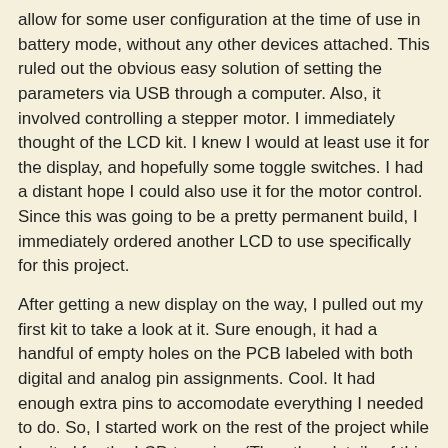allow for some user configuration at the time of use in battery mode, without any other devices attached. This ruled out the obvious easy solution of setting the parameters via USB through a computer. Also, it involved controlling a stepper motor. I immediately thought of the LCD kit. I knew I would at least use it for the display, and hopefully some toggle switches. I had a distant hope I could also use it for the motor control. Since this was going to be a pretty permanent build, I immediately ordered another LCD to use specifically for this project.
After getting a new display on the way, I pulled out my first kit to take a look at it. Sure enough, it had a handful of empty holes on the PCB labeled with both digital and analog pin assignments. Cool. It had enough extra pins to accomodate everything I needed to do. So, I started work on the rest of the project while I waited for the LCD to arrive. (The other details of this project I'll write about in future articles here and on my photography blog Hooked On Light.)
First thing after getting the new kit, I assembled it. It went much faster this time with no of the frustrations I